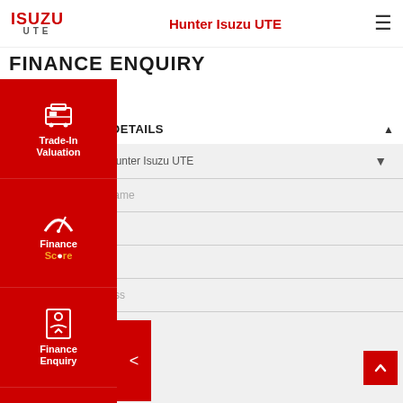ISUZU UTE  Hunter Isuzu UTE
FINANCE ENQUIRY
STEP 1 of 2
YOUR CONTACT DETAILS
[Figure (screenshot): Finance enquiry form with fields: Location (Hunter Isuzu UTE), Name (Full Name), Email, Phone, Address]
[Figure (infographic): Left sidebar navigation with: Trade-In Valuation, Finance Score, Finance Enquiry, Test Drive icons]